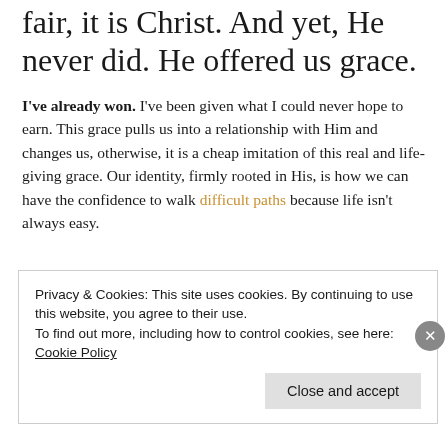fair, it is Christ. And yet, He never did. He offered us grace.
I've already won. I've been given what I could never hope to earn. This grace pulls us into a relationship with Him and changes us, otherwise, it is a cheap imitation of this real and life-giving grace. Our identity, firmly rooted in His, is how we can have the confidence to walk difficult paths because life isn't always easy.
Privacy & Cookies: This site uses cookies. By continuing to use this website, you agree to their use.
To find out more, including how to control cookies, see here: Cookie Policy
Close and accept